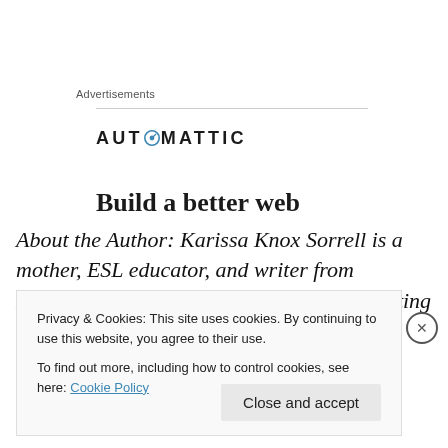Advertisements
[Figure (logo): Automattic logo with compass icon replacing the O, followed by text 'Build a better web' partially visible]
About the Author: Karissa Knox Sorrell is a mother, ESL educator, and writer from Nashville, Tennessee. Read more of her writing at her blog or follow her on Twitter
Privacy & Cookies: This site uses cookies. By continuing to use this website, you agree to their use.
To find out more, including how to control cookies, see here: Cookie Policy
Close and accept